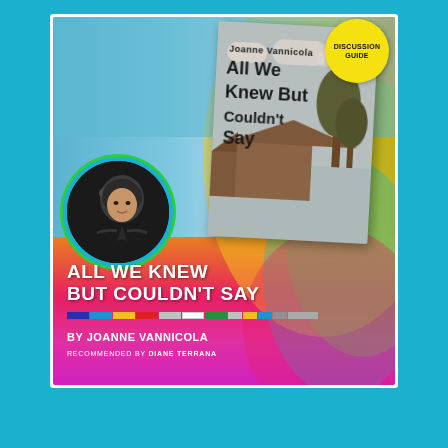[Figure (illustration): Book discussion guide cover for 'All We Knew But Couldn't Say' by Joanne Vannicola. Features a rainbow gradient background, an author photo in a circular frame, a book cover image, title text in white bold uppercase, a color bar strip, byline, and a yellow circular badge reading 'Discussion Guide'. Recommended by Diane Terrana.]